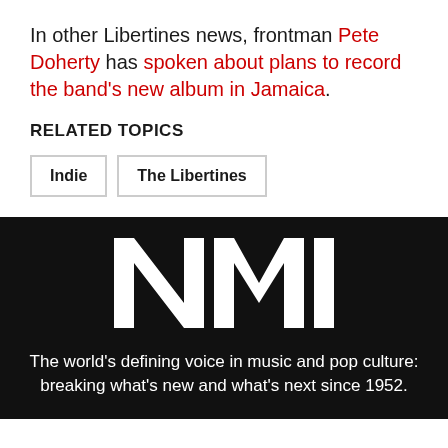In other Libertines news, frontman Pete Doherty has spoken about plans to record the band's new album in Jamaica.
RELATED TOPICS
Indie
The Libertines
[Figure (logo): NME logo in white bold capital letters on black background]
The world's defining voice in music and pop culture: breaking what's new and what's next since 1952.